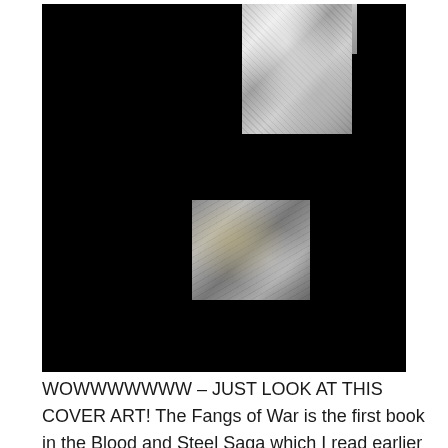[Figure (photo): Book cover art for 'The Fangs of War' — black background with two fragmented silvery metallic image pieces arranged vertically, reminiscent of a stylized face or skull in chrome/silver tones.]
WOWWWWWWW – JUST LOOK AT THIS COVER ART! The Fangs of War is the first book in the Blood and Steel Saga which I read earlier this year and LOVED IT so I was so glad for the